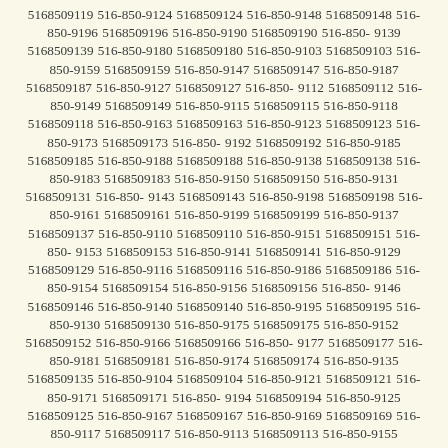5168509119 516-850-9124 5168509124 516-850-9148 5168509148 516-850-9196 5168509196 516-850-9190 5168509190 516-850-9139 5168509139 516-850-9180 5168509180 516-850-9103 5168509103 516-850-9159 5168509159 516-850-9147 5168509147 516-850-9187 5168509187 516-850-9127 5168509127 516-850-9112 5168509112 516-850-9149 5168509149 516-850-9115 5168509115 516-850-9118 5168509118 516-850-9163 5168509163 516-850-9123 5168509123 516-850-9173 5168509173 516-850-9192 5168509192 516-850-9185 5168509185 516-850-9188 5168509188 516-850-9138 5168509138 516-850-9183 5168509183 516-850-9150 5168509150 516-850-9131 5168509131 516-850-9143 5168509143 516-850-9198 5168509198 516-850-9161 5168509161 516-850-9199 5168509199 516-850-9137 5168509137 516-850-9110 5168509110 516-850-9151 5168509151 516-850-9153 5168509153 516-850-9141 5168509141 516-850-9129 5168509129 516-850-9116 5168509116 516-850-9186 5168509186 516-850-9154 5168509154 516-850-9156 5168509156 516-850-9146 5168509146 516-850-9140 5168509140 516-850-9195 5168509195 516-850-9130 5168509130 516-850-9175 5168509175 516-850-9152 5168509152 516-850-9166 5168509166 516-850-9177 5168509177 516-850-9181 5168509181 516-850-9174 5168509174 516-850-9135 5168509135 516-850-9104 5168509104 516-850-9121 5168509121 516-850-9171 5168509171 516-850-9194 5168509194 516-850-9125 5168509125 516-850-9167 5168509167 516-850-9169 5168509169 516-850-9117 5168509117 516-850-9113 5168509113 516-850-9155 5168509155 516-850-9192 5168509192 516-850-9122 5168509122 516-850-9191